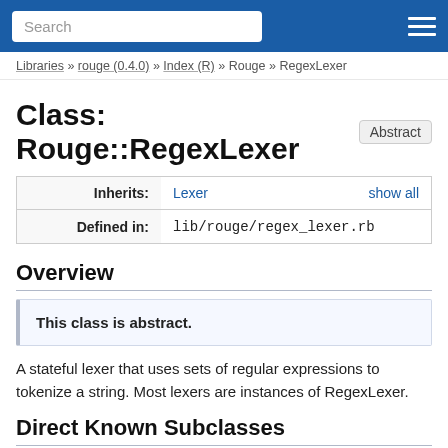Search
Libraries » rouge (0.4.0) » Index (R) » Rouge » RegexLexer
Class: Rouge::RegexLexer Abstract
|  |  |  |
| --- | --- | --- |
| Inherits: | Lexer | show all |
| Defined in: | lib/rouge/regex_lexer.rb |  |
Overview
This class is abstract.
A stateful lexer that uses sets of regular expressions to tokenize a string. Most lexers are instances of RegexLexer.
Direct Known Subclasses
Lexers::C, Lexers::CSS, Lexers::CSharp, Lexers::Clojure